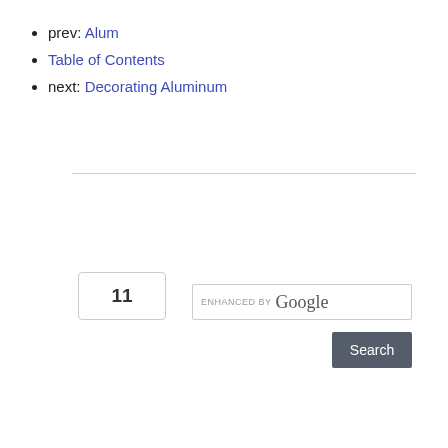prev: Alum
Table of Contents
next: Decorating Aluminum
[Figure (other): Orange plus button with count box showing 11]
[Figure (other): Enhanced by Google search box with Search button]